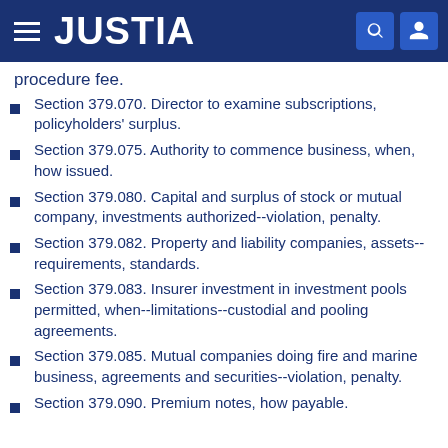JUSTIA
procedure fee.
Section 379.070. Director to examine subscriptions, policyholders' surplus.
Section 379.075. Authority to commence business, when, how issued.
Section 379.080. Capital and surplus of stock or mutual company, investments authorized--violation, penalty.
Section 379.082. Property and liability companies, assets--requirements, standards.
Section 379.083. Insurer investment in investment pools permitted, when--limitations--custodial and pooling agreements.
Section 379.085. Mutual companies doing fire and marine business, agreements and securities--violation, penalty.
Section 379.090. Premium notes, how payable.